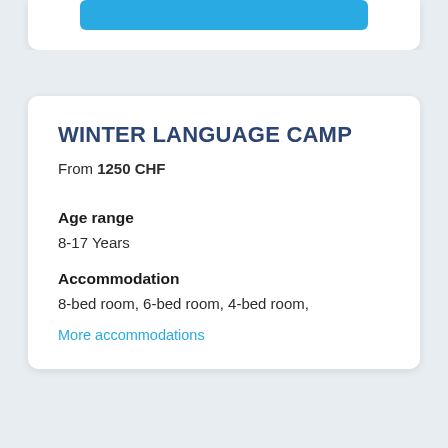[Figure (other): Blue button/banner at top of a white card, partially visible at top of page]
WINTER LANGUAGE CAMP
From 1250 CHF
Age range
8-17 Years
Accommodation
8-bed room, 6-bed room, 4-bed room,
More accommodations